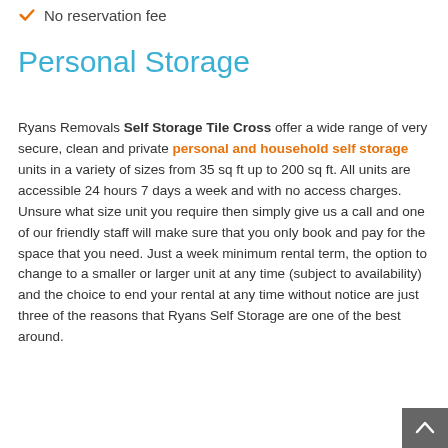No reservation fee
Personal Storage
Ryans Removals Self Storage Tile Cross offer a wide range of very secure, clean and private personal and household self storage units in a variety of sizes from 35 sq ft up to 200 sq ft. All units are accessible 24 hours 7 days a week and with no access charges. Unsure what size unit you require then simply give us a call and one of our friendly staff will make sure that you only book and pay for the space that you need. Just a week minimum rental term, the option to change to a smaller or larger unit at any time (subject to availability) and the choice to end your rental at any time without notice are just three of the reasons that Ryans Self Storage are one of the best around.